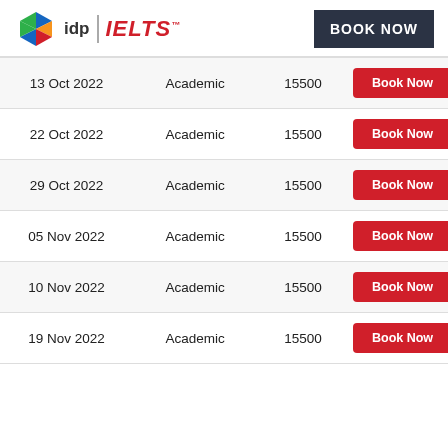[Figure (logo): IDP IELTS logo with colorful hexagon icon and IELTS text in red italic]
BOOK NOW
| Date | Type | Fee | Action |
| --- | --- | --- | --- |
| 13 Oct 2022 | Academic | 15500 | Book Now |
| 22 Oct 2022 | Academic | 15500 | Book Now |
| 29 Oct 2022 | Academic | 15500 | Book Now |
| 05 Nov 2022 | Academic | 15500 | Book Now |
| 10 Nov 2022 | Academic | 15500 | Book Now |
| 19 Nov 2022 | Academic | 15500 | Book Now |